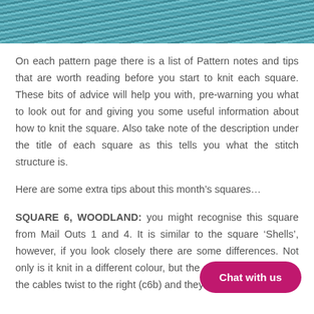[Figure (photo): Close-up photo of teal/blue knitted fabric texture showing stitch pattern]
On each pattern page there is a list of Pattern notes and tips that are worth reading before you start to knit each square. These bits of advice will help you with, pre-warning you what to look out for and giving you some useful information about how to knit the square. Also take note of the description under the title of each square as this tells you what the stitch structure is.
Here are some extra tips about this month’s squares…
SQUARE 6, WOODLAND: you might recognise this square from Mail Outs 1 and 4. It is similar to the square ‘Shells’, however, if you look closely there are some differences. Not only is it knit in a different colour, but the cable pattern is different – the cables twist to the right (c6b) and they are all knitted